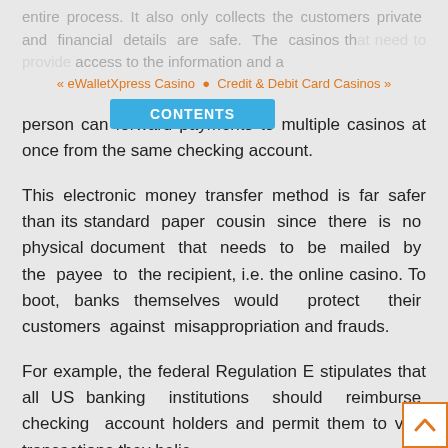« eWalletXpress Casino • Credit & Debit Card Casinos »
entire process. It also only collects the customers private and financial details are safe. The casinos that need to provide access to the information and a person can forward payments to multiple casinos at once from the same checking account.
This electronic money transfer method is far safer than its standard paper cousin since there is no physical document that needs to be mailed by the payee to the recipient, i.e. the online casino. To boot, banks themselves would protect their customers against misappropriation and frauds.
For example, the federal Regulation E stipulates that all US banking institutions should reimburse checking account holders and permit them to void transactions they believe are fraudulent. However, you should also be with